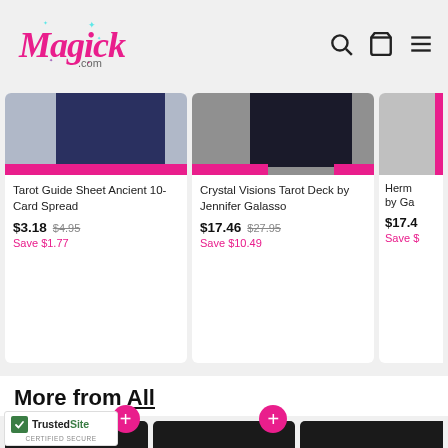Magick.com
[Figure (screenshot): Product card: Tarot Guide Sheet Ancient 10-Card Spread, price $3.18, original $4.95, Save $1.77]
[Figure (screenshot): Product card: Crystal Visions Tarot Deck by Jennifer Galasso, price $17.46, original $27.95, Save $10.49]
[Figure (screenshot): Partial product card: Herm... by Ga..., price $17.4..., Save $...]
More from All
[Figure (photo): Black cauldron product thumbnail with pink plus button]
[Figure (photo): Black cauldron product thumbnail with pink plus button]
[Figure (photo): Partial black cauldron product thumbnail]